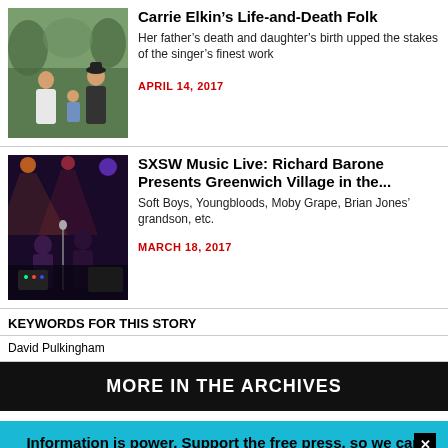[Figure (photo): Photo of Carrie Elkin with family members outdoors in green setting]
Carrie Elkin's Life-and-Death Folk
Her father's death and daughter's birth upped the stakes of the singer's finest work
APRIL 14, 2017
[Figure (photo): Concert performance photo, dark venue with performers on stage]
SXSW Music Live: Richard Barone Presents Greenwich Village in the...
Soft Boys, Youngbloods, Moby Grape, Brian Jones' grandson, etc.
MARCH 18, 2017
KEYWORDS FOR THIS STORY
David Pulkingham
MORE IN THE ARCHIVES
Information is power. Support the free press, so we can support Austin.
SUPPORT THE CHRONICLE →